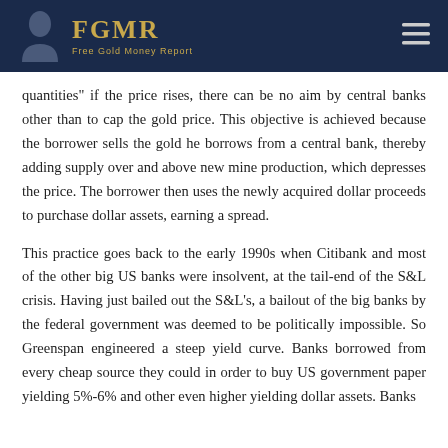FGMR – Free Gold Money Report
quantities" if the price rises, there can be no aim by central banks other than to cap the gold price. This objective is achieved because the borrower sells the gold he borrows from a central bank, thereby adding supply over and above new mine production, which depresses the price. The borrower then uses the newly acquired dollar proceeds to purchase dollar assets, earning a spread.
This practice goes back to the early 1990s when Citibank and most of the other big US banks were insolvent, at the tail-end of the S&L crisis. Having just bailed out the S&L's, a bailout of the big banks by the federal government was deemed to be politically impossible. So Greenspan engineered a steep yield curve. Banks borrowed from every cheap source they could in order to buy US government paper yielding 5%-6% and other even higher yielding dollar assets. Banks